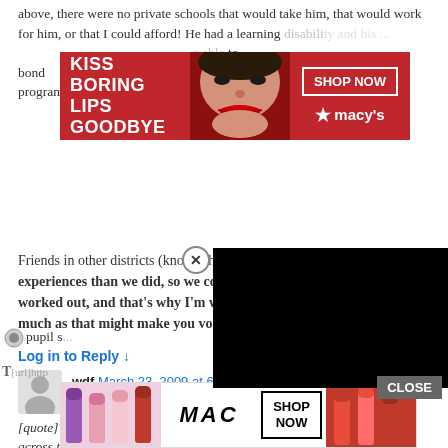above, there were no private schools that would take him, that would work for him, or that I could afford! He had a learning disability and his ... able to bond ... d 504 program
[Figure (infographic): Macy's advertisement: KISS BORING LIPS GOODBYE with SHOP NOW button and macy's star logo, red background with woman's lips photo]
Friends in other districts (known through support groups) had worse experiences than we did, so we consider ourselves fortunate that it worked out, and that's why I'm willing to believe in this district, as much as that might make you vomit.
Log in to Reply ↓
wdf March 23, 2009 at 6:19
[quote]Yes, but how do CA schools compare across the country? Seems to me ... 49th. How does DHS compare to s... would be curious to know. [/quote]
[Figure (screenshot): Black video player overlay in top-right area]
It depends on what you want to know. California ranks at the bottom in staff to student ratio, and below average ... per
pupil s...
[Figure (infographic): MAC cosmetics advertisement with lipsticks, MAC logo, SHOP NOW button]
[url]http...